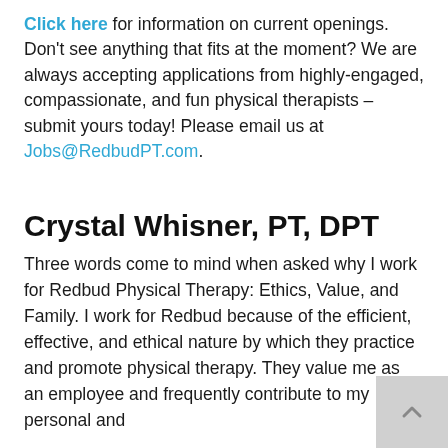Click here for information on current openings. Don't see anything that fits at the moment? We are always accepting applications from highly-engaged, compassionate, and fun physical therapists – submit yours today! Please email us at Jobs@RedbudPT.com.
Crystal Whisner, PT, DPT
Three words come to mind when asked why I work for Redbud Physical Therapy: Ethics, Value, and Family. I work for Redbud because of the efficient, effective, and ethical nature by which they practice and promote physical therapy. They value me as an employee and frequently contribute to my personal and